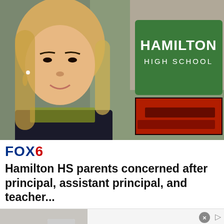[Figure (photo): Composite photo showing a woman with blonde hair on the left and a Hamilton High School green sign with LED marquee board on the right]
FOX6
Hamilton HS parents concerned after principal, assistant principal, and teacher...
[Figure (other): Advertisement: Official NFL Gear. Get Your Favorite Team's Gear Here. www.nflshop.com. Shows NFL jerseys including a Patriots shirt. Blue navigation arrow button.]